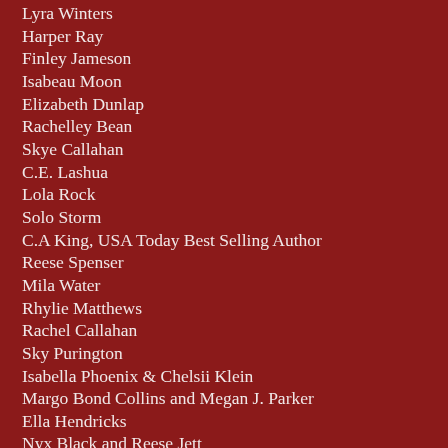Lyra Winters
Harper Ray
Finley Jameson
Isabeau Moon
Elizabeth Dunlap
Rachelley Bean
Skye Callahan
C.E. Lashua
Lola Rock
Solo Storm
C.A King, USA Today Best Selling Author
Reese Spenser
Mila Water
Rhylie Matthews
Rachel Callahan
Sky Purington
Isabella Phoenix & Chelsii Klein
Margo Bond Collins and Megan J. Parker
Ella Hendricks
Nyx Black and Reese Jett
Sherry Ficklin
Kassandra Cross